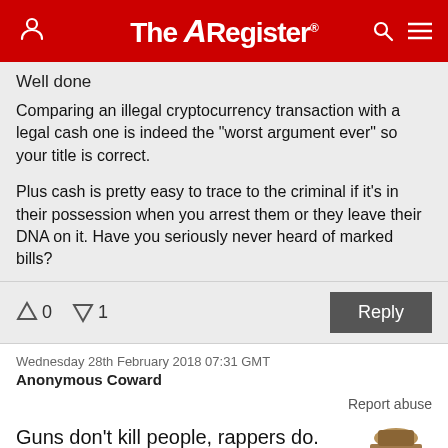The Register
Well done

Comparing an illegal cryptocurrency transaction with a legal cash one is indeed the "worst argument ever" so your title is correct.

Plus cash is pretty easy to trace to the criminal if it's in their possession when you arrest them or they leave their DNA on it. Have you seriously never heard of marked bills?
↑0  ↓1  Reply
Wednesday 28th February 2018 07:31 GMT
Anonymous Coward
Report abuse
Guns don't kill people, rappers do.
[Figure (illustration): Anonymous Coward avatar - Guy Fawkes mask illustration]
↑17  ↓0  Reply